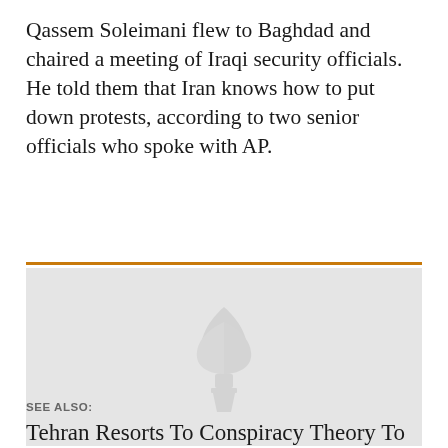Qassem Soleimani flew to Baghdad and chaired a meeting of Iraqi security officials. He told them that Iran knows how to put down protests, according to two senior officials who spoke with AP.
[Figure (photo): Gray placeholder image with a faint watermark logo (stylized torch/flame icon) in the center]
SEE ALSO:
Tehran Resorts To Conspiracy Theory To Avoid Blame For Iraq Unrest